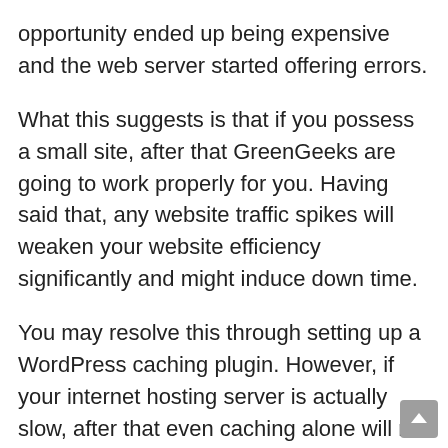opportunity ended up being expensive and the web server started offering errors.
What this suggests is that if you possess a small site, after that GreenGeeks are going to work properly for you. Having said that, any website traffic spikes will weaken your website efficiency significantly and might induce down time.
You may resolve this through setting up a WordPress caching plugin. However, if your internet hosting server is actually slow, after that even caching alone will not make much distinction.
GreenGeeks does give individuals an option to permit caching, but our experts wanted to decent in our tests across all systems, so our team ran exams just along with the nonpayment installation configuration with no performance